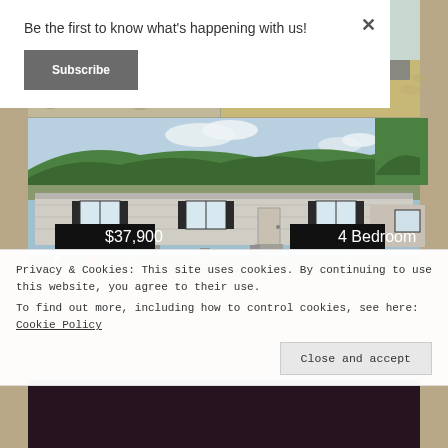[Figure (photo): Photo collage of a manufactured/mobile home showing foundation gravel on top and a 4-bedroom mobile home priced at $37,900 with hills in the background]
Be the first to know what's happening with us!
Subscribe
Privacy & Cookies: This site uses cookies. By continuing to use this website, you agree to their use.
To find out more, including how to control cookies, see here: Cookie Policy
Close and accept